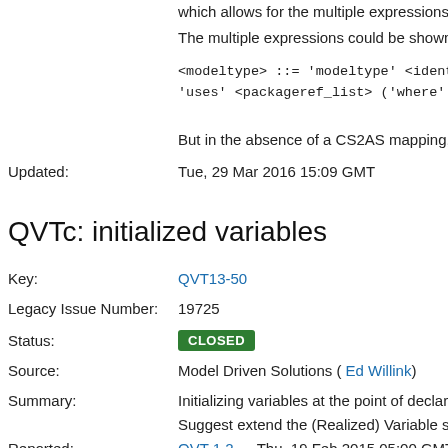which allows for the multiple expressions.
The multiple expressions could be shown me
<modeltype> ::= 'modeltype' <identifier> <co 'uses' <packageref_list> ('where' '{' <express
But in the absence of a CS2AS mapping, im
Updated: Tue, 29 Mar 2016 15:09 GMT
QVTc: initialized variables
Key: QVT13-50
Legacy Issue Number: 19725
Status: CLOSED
Source: Model Driven Solutions ( Ed Willink)
Summary: Initializing variables at the point of declaratio
Suggest extend the (Realized) Variable synt
Reported: QVT 1.2 — Thu, 19 Feb 2015 05:00 GMT